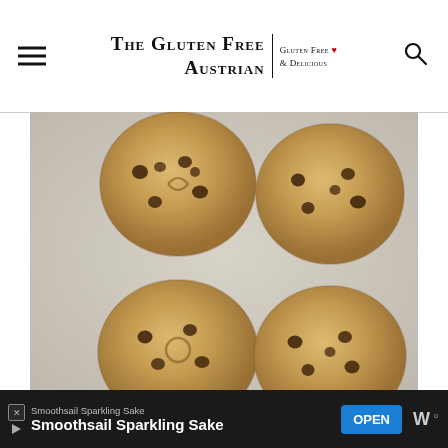THE GLUTEN FREE AUSTRIAN | Gluten Free & Delicious
[Figure (photo): Four chocolate chip cookie dough balls on parchment paper, viewed from above, before baking. Two cookies are in the upper portion and two are partially visible at the bottom.]
Smoothsail Sparkling Sake
Smoothsail Sparkling Sake
OPEN